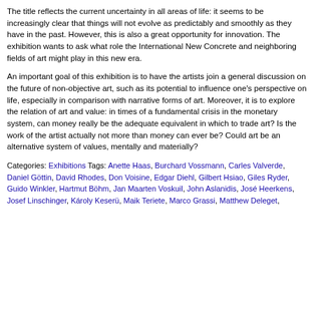The title reflects the current uncertainty in all areas of life: it seems to be increasingly clear that things will not evolve as predictably and smoothly as they have in the past. However, this is also a great opportunity for innovation. The exhibition wants to ask what role the International New Concrete and neighboring fields of art might play in this new era.
An important goal of this exhibition is to have the artists join a general discussion on the future of non-objective art, such as its potential to influence one's perspective on life, especially in comparison with narrative forms of art. Moreover, it is to explore the relation of art and value: in times of a fundamental crisis in the monetary system, can money really be the adequate equivalent in which to trade art? Is the work of the artist actually not more than money can ever be? Could art be an alternative system of values, mentally and materially?
Categories: Exhibitions Tags: Anette Haas, Burchard Vossmann, Carles Valverde, Daniel Göttin, David Rhodes, Don Voisine, Edgar Diehl, Gilbert Hsiao, Giles Ryder, Guido Winkler, Hartmut Böhm, Jan Maarten Voskuil, John Aslanidis, José Heerkens, Josef Linschinger, Károly Keserü, Maik Teriete, Marco Grassi, Matthew Deleget,